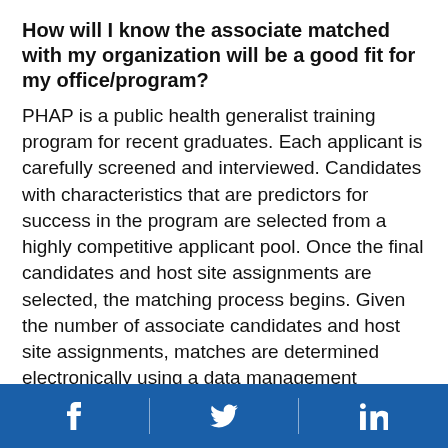How will I know the associate matched with my organization will be a good fit for my office/program?
PHAP is a public health generalist training program for recent graduates. Each applicant is carefully screened and interviewed. Candidates with characteristics that are predictors for success in the program are selected from a highly competitive applicant pool. Once the final candidates and host site assignments are selected, the matching process begins. Given the number of associate candidates and host site assignments, matches are determined electronically using a data management system, and are based on various factors such as regional geographic preferences of the candidates and specific requirements of the host site (e.g., foreign language skills, valid driver's license, or personally
[Facebook] [Twitter] [LinkedIn]